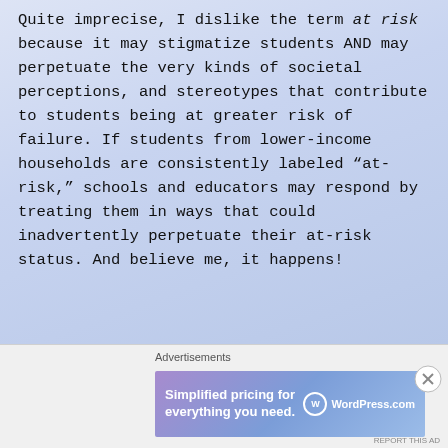Quite imprecise, I dislike the term at risk because it may stigmatize students AND may perpetuate the very kinds of societal perceptions, and stereotypes that contribute to students being at greater risk of failure. If students from lower-income households are consistently labeled “at-risk,” schools and educators may respond by treating them in ways that could inadvertently perpetuate their at-risk status. And believe me, it happens!
Advertisements
[Figure (screenshot): WordPress.com advertisement banner: 'Simplified pricing for everything you need.' with WordPress.com logo on a purple-blue gradient background.]